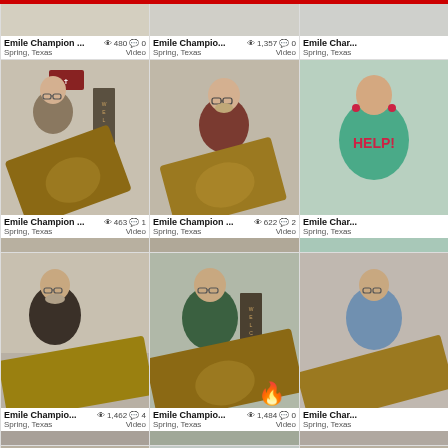[Figure (screenshot): Social media video grid showing multiple video thumbnails of 'Emile Champion' from Spring, Texas playing guitar, with view counts and comment counts]
Emile Champion ... 480 views 0 comments | Spring, Texas | Video
Emile Champio... 1,357 views 0 comments | Spring, Texas | Video
Emile Cham... Spring, Texas
Emile Champion ... 463 views 1 comment | Spring, Texas | Video
Emile Champion ... 622 views 2 comments | Spring, Texas | Video
Emile Cham... Spring, Texas
Emile Champio... 1,462 views 4 comments | Spring, Texas | Video
Emile Champio... 1,484 views 0 comments | Spring, Texas | Video
Emile Cham... Spring, Texas